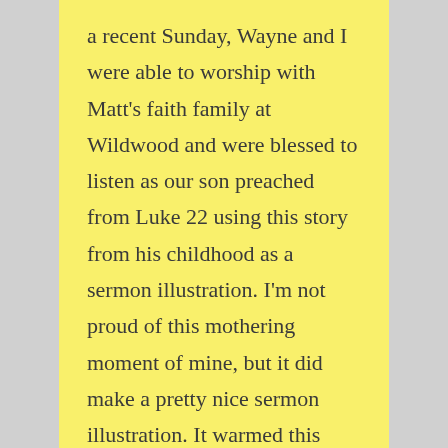a recent Sunday, Wayne and I were able to worship with Matt's faith family at Wildwood and were blessed to listen as our son preached from Luke 22 using this story from his childhood as a sermon illustration. I'm not proud of this mothering moment of mine, but it did make a pretty nice sermon illustration. It warmed this momma's heart (and his dad's too) hearing Matt sharing God's Word as he preached. I invite you